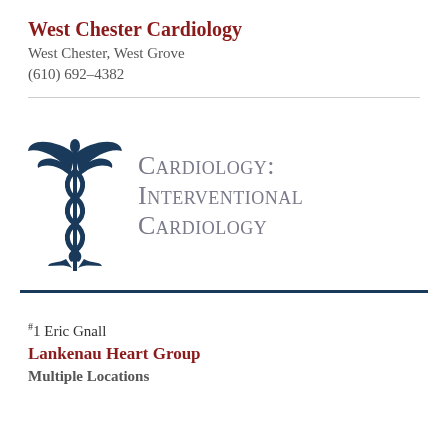West Chester Cardiology
West Chester, West Grove
(610) 692–4382
[Figure (logo): Caduceus medical symbol with wings and two serpents in dark teal/navy blue, alongside text reading 'Cardiology: Interventional Cardiology' in small-caps gray serif font]
#1 Eric Gnall
Lankenau Heart Group
Multiple Locations